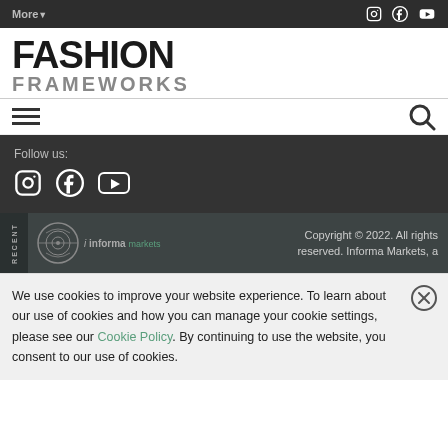More▼  [Instagram] [Facebook] [YouTube]
FASHION FRAMEWORKS
[Figure (illustration): Hamburger menu icon (three horizontal lines) and search magnifying glass icon]
Follow us:
[Figure (illustration): Instagram, Facebook, and YouTube social media icons in white on dark background]
Copyright © 2022. All rights reserved. Informa Markets, a
We use cookies to improve your website experience. To learn about our use of cookies and how you can manage your cookie settings, please see our Cookie Policy. By continuing to use the website, you consent to our use of cookies.